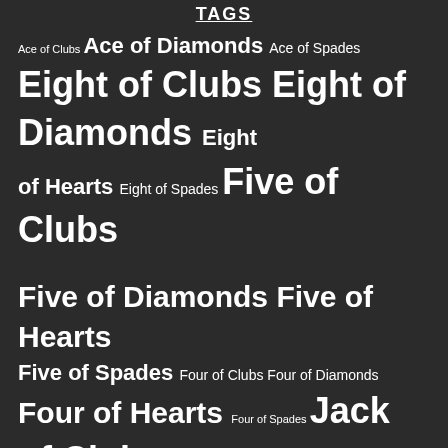TAGS
Ace of Clubs Ace of Diamonds Ace of Spades Eight of Clubs Eight of Diamonds Eight of Hearts Eight of Spades Five of Clubs Five of Diamonds Five of Hearts Five of Spades Four of Clubs Four of Diamonds Four of Hearts Four of Spades Jack of Clubs Jack of Diamonds Jack of Hearts Jack of Spades King of Clubs King of Diamonds King of Hearts Nine of Clubs Nine of Diamonds Nine of Spades Queen of